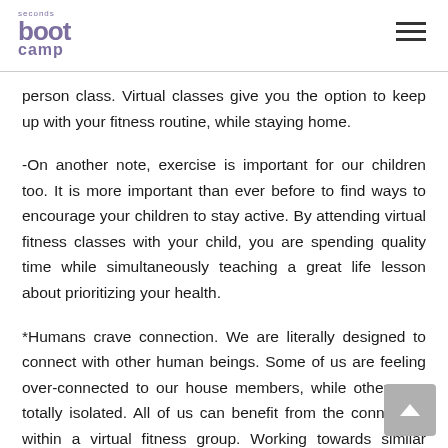seconds boot camp
person class. Virtual classes give you the option to keep up with your fitness routine, while staying home.
-On another note, exercise is important for our children too. It is more important than ever before to find ways to encourage your children to stay active. By attending virtual fitness classes with your child, you are spending quality time while simultaneously teaching a great life lesson about prioritizing your health.
*Humans crave connection. We are literally designed to connect with other human beings. Some of us are feeling over-connected to our house members, while others are totally isolated. All of us can benefit from the connection within a virtual fitness group. Working towards similar goals, motivated by being on a journey with others.